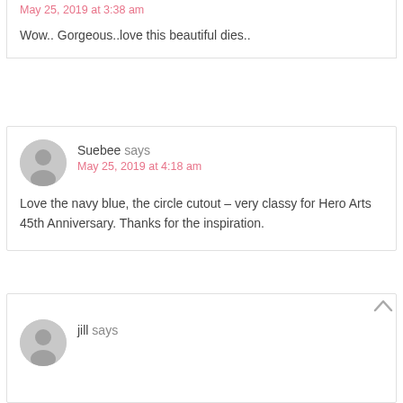May 25, 2019 at 3:38 am
Wow.. Gorgeous..love this beautiful dies..
Suebee says
May 25, 2019 at 4:18 am
Love the navy blue, the circle cutout – very classy for Hero Arts 45th Anniversary. Thanks for the inspiration.
jill says